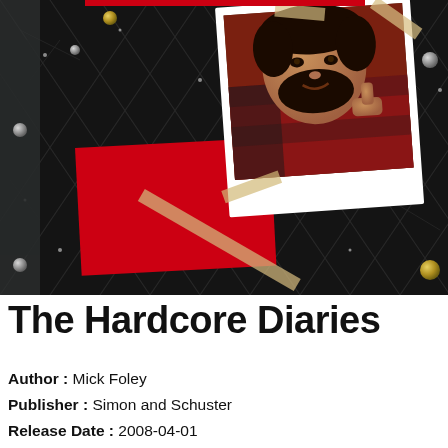[Figure (photo): Book cover of 'The Hardcore Diaries' showing a polaroid-style photo of a bearded man (Mick Foley) giving a thumbs up, pinned on a dark chain-link fence background with a red card and tape, gold bolts decorating the corners.]
The Hardcore Diaries
Author : Mick Foley
Publisher : Simon and Schuster
Release Date : 2008-04-01
ISBN 10 : 9781416556787